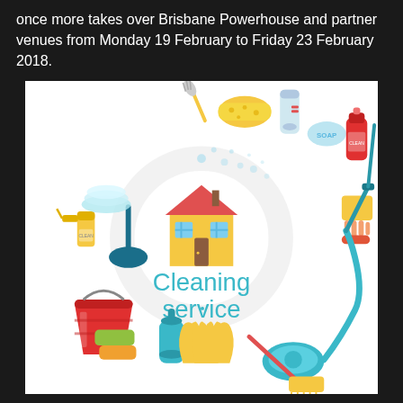once more takes over Brisbane Powerhouse and partner venues from Monday 19 February to Friday 23 February 2018.
[Figure (illustration): Cleaning service illustration showing various cleaning tools and supplies (sponge, spray bottle, soap, detergent, plunger, mop, vacuum, bucket, gloves, sponges, cloths) arranged in a circle around a cartoon house icon, with 'Cleaning service' text in teal color in the center.]